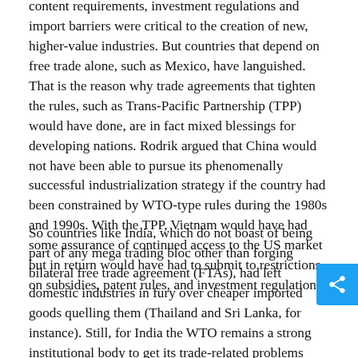content requirements, investment regulations and import barriers were critical to the creation of new, higher-value industries. But countries that depend on free trade alone, such as Mexico, have languished. That is the reason why trade agreements that tighten the rules, such as Trans-Pacific Partnership (TPP) would have done, are in fact mixed blessings for developing nations. Rodrik argued that China would not have been able to pursue its phenomenally successful industrialization strategy if the country had been constrained by WTO-type rules during the 1980s and 1990s. With the TPP, Vietnam would have had some assurance of continued access to the US market but in return would have had to submit to restrictions on subsidies, patent rules, and investment regulations.
So countries like India, which do not boast of being part of any mega trading bloc other than forging bilateral free trade agreement (FTAs), had left domestic industries in fury over cheaper imported goods quelling them (Thailand and Sri Lanka, for instance). Still, for India the WTO remains a strong institutional body to get its trade-related problems redressed. But of late, the WTO, too, has evolved a sort of strict rules of